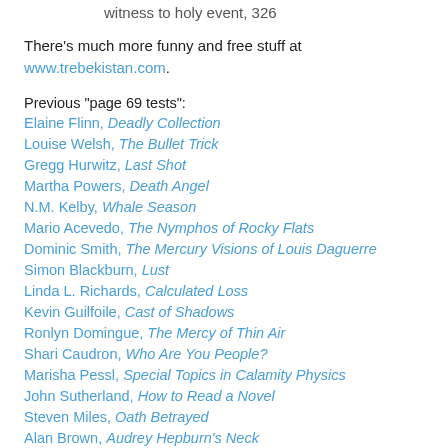witness to holy event, 326
There's much more funny and free stuff at www.trebekistan.com.
Previous "page 69 tests":
Elaine Flinn, Deadly Collection
Louise Welsh, The Bullet Trick
Gregg Hurwitz, Last Shot
Martha Powers, Death Angel
N.M. Kelby, Whale Season
Mario Acevedo, The Nymphos of Rocky Flats
Dominic Smith, The Mercury Visions of Louis Daguerre
Simon Blackburn, Lust
Linda L. Richards, Calculated Loss
Kevin Guilfoile, Cast of Shadows
Ronlyn Domingue, The Mercy of Thin Air
Shari Caudron, Who Are You People?
Marisha Pessl, Special Topics in Calamity Physics
John Sutherland, How to Read a Novel
Steven Miles, Oath Betrayed
Alan Brown, Audrey Hepburn's Neck
Richard Brookhiser, The Adamson Trb...